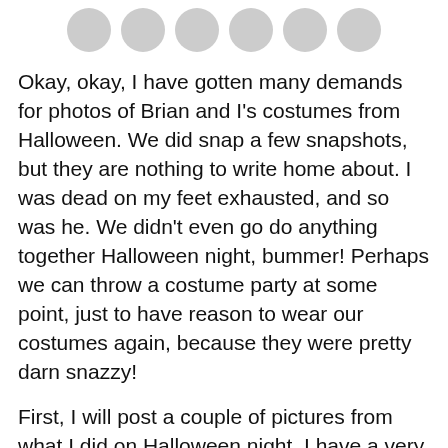[Row of avatar/profile circles]
Okay, okay, I have gotten many demands for photos of Brian and I’s costumes from Halloween. We did snap a few snapshots, but they are nothing to write home about. I was dead on my feet exhausted, and so was he. We didn’t even go do anything together Halloween night, bummer! Perhaps we can throw a costume party at some point, just to have reason to wear our costumes again, because they were pretty darn snazzy!
First, I will post a couple of pictures from what I did on Halloween night. I have a very good friend who has done many things through out the years to help me out, including house sitting and acting as